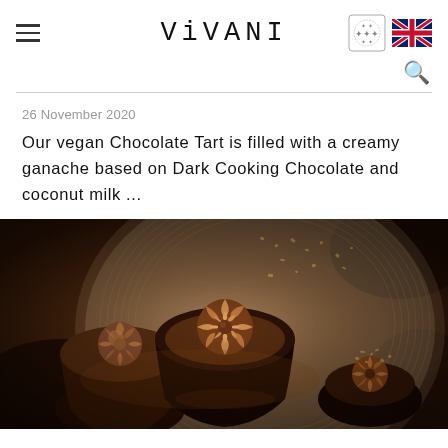VIVANI
26 November 2020
Our vegan Chocolate Tart is filled with a creamy ganache based on Dark Cooking Chocolate and coconut milk ...
[Figure (photo): Close-up overhead photo of chocolate tart slices with swirled chocolate ganache frosting on a ridged tart dish, decorated with chopped nuts and cocoa powder]